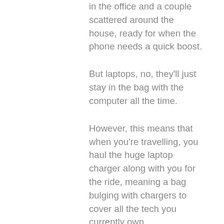in the office and a couple scattered around the house, ready for when the phone needs a quick boost.
But laptops, no, they'll just stay in the bag with the computer all the time.
However, this means that when you're travelling, you haul the huge laptop charger along with you for the ride, meaning a bag bulging with chargers to cover all the tech you currently own.
But gallium nitride chargers, or “GaN”, will change all of that.
Gallium nitride allows for much faster, smaller and compact chargers. It’s the new wonder material that will make silicon obsolete and lead to chargers you can carry in your pocket that will